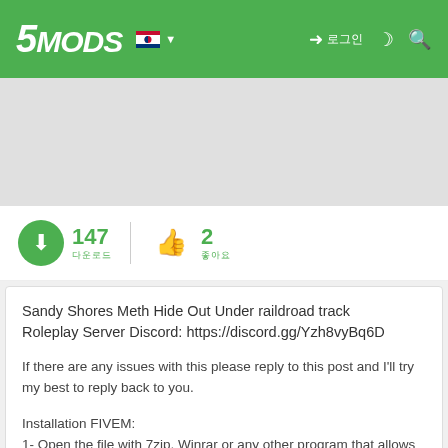5MODS
147 다운로드   2 좋아요
Sandy Shores Meth Hide Out Under raildroad track
Roleplay Server Discord: https://discord.gg/Yzh8vyBq6D
If there are any issues with this please reply to this post and I'll try my best to reply back to you.
Installation FIVEM:
1- Open the file with 7zip, Winrar or any other program that allows you to unzip these types of files
2- Unzip the file into your MAP FOLDER who start on your